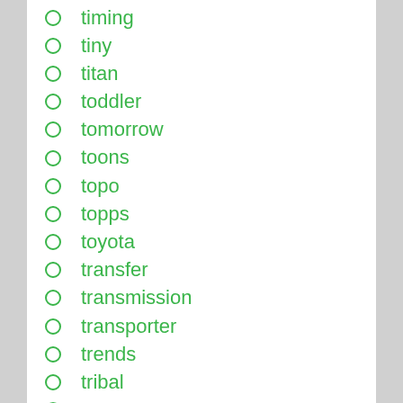timing
tiny
titan
toddler
tomorrow
toons
topo
topps
toyota
transfer
transmission
transporter
trends
tribal
troy
truck
true
tuning
turbocad